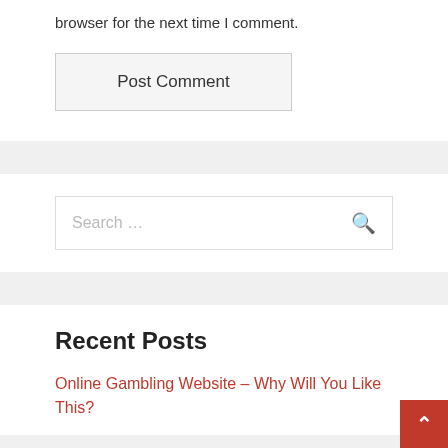browser for the next time I comment.
Post Comment
Search ...
Recent Posts
Online Gambling Website – Why Will You Like This?